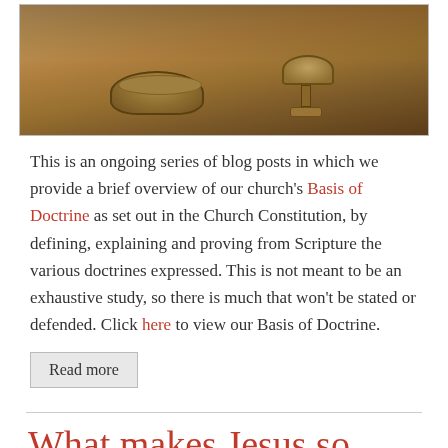[Figure (photo): Sepia-toned painting or photo of bowls and a chalice/goblet on a table, likely depicting the Last Supper elements.]
This is an ongoing series of blog posts in which we provide a brief overview of our church's Basis of Doctrine as set out in the Church Constitution, by defining, explaining and proving from Scripture the various doctrines expressed. This is not meant to be an exhaustive study, so there is much that won't be stated or defended. Click here to view our Basis of Doctrine.
Read more
What makes Jesus so appealing?